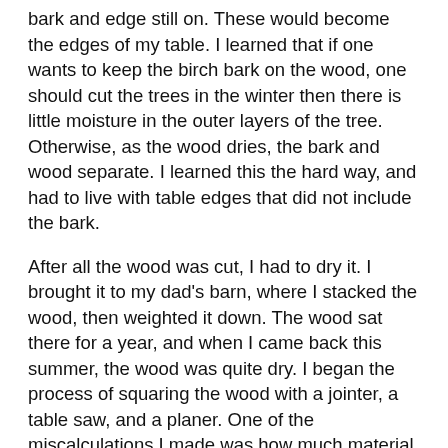bark and edge still on. These would become the edges of my table. I learned that if one wants to keep the birch bark on the wood, one should cut the trees in the winter then there is little moisture in the outer layers of the tree. Otherwise, as the wood dries, the bark and wood separate. I learned this the hard way, and had to live with table edges that did not include the bark.
After all the wood was cut, I had to dry it. I brought it to my dad's barn, where I stacked the wood, then weighted it down. The wood sat there for a year, and when I came back this summer, the wood was quite dry. I began the process of squaring the wood with a jointer, a table saw, and a planer. One of the miscalculations I made was how much material I would have to take off of the wood get them square. I intended to make the table top 1.5" thick, with planks 5.5" wide. I quickly realized I needed to take off far more material to get the pieces square. Even though I cut the wood with a 1/2" of extra